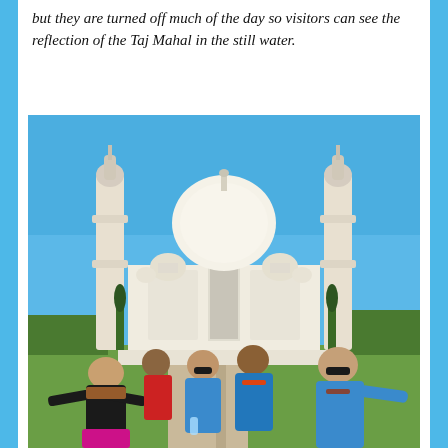but they are turned off much of the day so visitors can see the reflection of the Taj Mahal in the still water.
[Figure (photo): Group photo of five people posing in front of the Taj Mahal under a clear blue sky. One woman on the left wearing black top with arms spread wide, a young man behind her in red, two men in blue Indian kurtas in the center, and a man in glasses on the right wearing blue kurta with arms extended.]